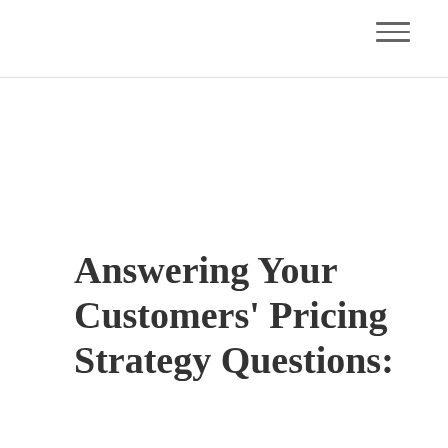Answering Your Customers' Pricing Strategy Questions: